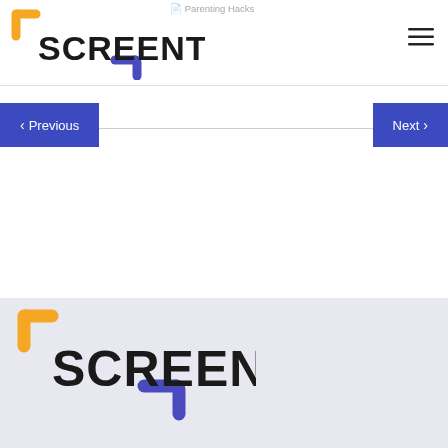Parenting Hacks
[Figure (logo): Screentime logo with yellow top-left bracket and blue bottom-right bracket, bold black SCREENTIME text]
[Figure (other): Hamburger menu icon (three horizontal lines)]
< Previous
Next >
[Figure (logo): Screentime logo in footer area on light lavender background, larger version]